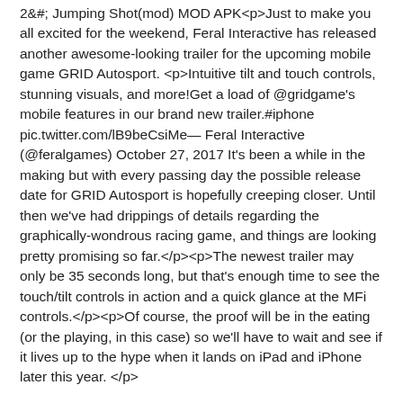2&#;Jumping Shot(mod) MOD APK<p>Just to make you all excited for the weekend, Feral Interactive has released another awesome-looking trailer for the upcoming mobile game GRID Autosport. <p>Intuitive tilt and touch controls, stunning visuals, and more!Get a load of @gridgame's mobile features in our brand new trailer.#iphone pic.twitter.com/lB9beCsiMe— Feral Interactive (@feralgames) October 27, 2017 It's been a while in the making but with every passing day the possible release date for GRID Autosport is hopefully creeping closer. Until then we've had drippings of details regarding the graphically-wondrous racing game, and things are looking pretty promising so far.</p><p>The newest trailer may only be 35 seconds long, but that's enough time to see the touch/tilt controls in action and a quick glance at the MFi controls.</p><p>Of course, the proof will be in the eating (or the playing, in this case) so we'll have to wait and see if it lives up to the hype when it lands on iPad and iPhone later this year.</p>